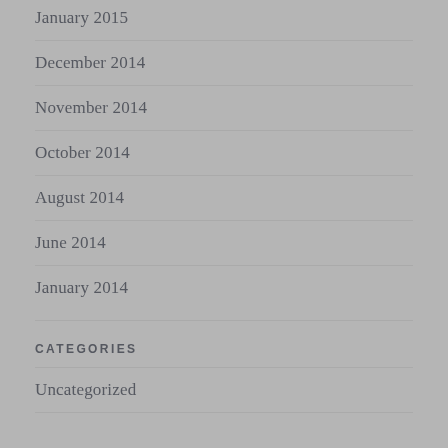January 2015
December 2014
November 2014
October 2014
August 2014
June 2014
January 2014
CATEGORIES
Uncategorized